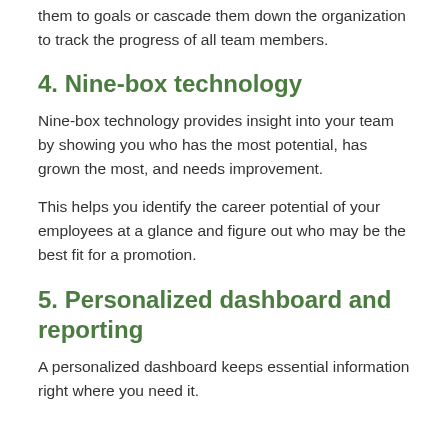them to goals or cascade them down the organization to track the progress of all team members.
4. Nine-box technology
Nine-box technology provides insight into your team by showing you who has the most potential, has grown the most, and needs improvement.
This helps you identify the career potential of your employees at a glance and figure out who may be the best fit for a promotion.
5. Personalized dashboard and reporting
A personalized dashboard keeps essential information right where you need it.